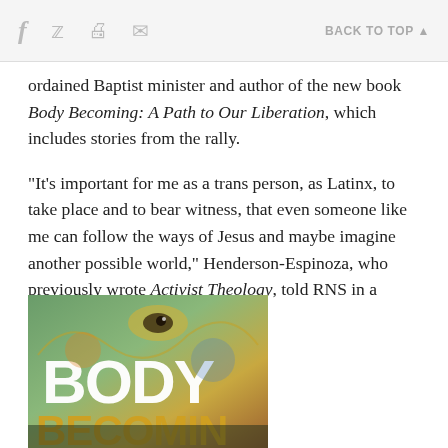f  🐦  🖨  ✉   BACK TO TOP ▲
ordained Baptist minister and author of the new book Body Becoming: A Path to Our Liberation, which includes stories from the rally.
"It's important for me as a trans person, as Latinx, to take place and to bear witness, that even someone like me can follow the ways of Jesus and maybe imagine another possible world," Henderson-Espinoza, who previously wrote Activist Theology, told RNS in a recent interview.
[Figure (photo): Book cover showing the text 'BODY BECOMING' in large white letters against a colorful background with a close-up of an eye and decorative elements.]